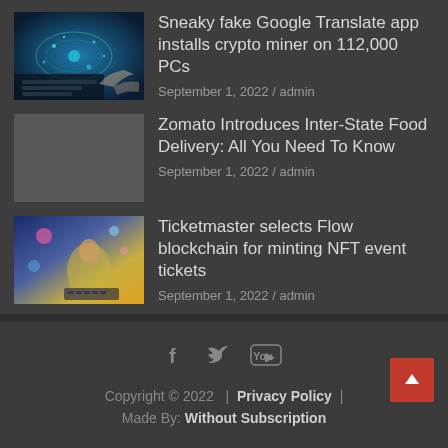[Figure (photo): Thumbnail: person at keyboard with glowing digital world map and particles, blue/teal tones]
Sneaky fake Google Translate app installs crypto miner on 112,000 PCs
September 1, 2022 / admin
[Figure (photo): Gray placeholder thumbnail]
Zomato Introduces Inter-State Food Delivery: All You Need To Know
September 1, 2022 / admin
[Figure (photo): Thumbnail: illustrated person at keyboard with colorful digital elements, blue/purple/yellow tones]
Ticketmaster selects Flow blockchain for minting NFT event tickets
September 1, 2022 / admin
Copyright © 2022  |  Privacy Policy  |  Made By: Without Subscription